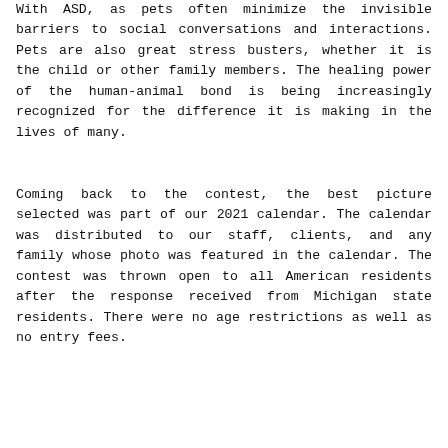With ASD, as pets often minimize the invisible barriers to social conversations and interactions. Pets are also great stress busters, whether it is the child or other family members. The healing power of the human-animal bond is being increasingly recognized for the difference it is making in the lives of many.
Coming back to the contest, the best picture selected was part of our 2021 calendar. The calendar was distributed to our staff, clients, and any family whose photo was featured in the calendar. The contest was thrown open to all American residents after the response received from Michigan state residents. There were no age restrictions as well as no entry fees.